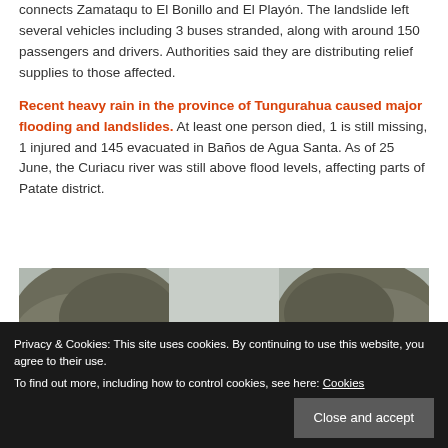connects Zamataqu to El Bonillo and El Playón. The landslide left several vehicles including 3 buses stranded, along with around 150 passengers and drivers. Authorities said they are distributing relief supplies to those affected.
Recent heavy rain in the province of Tungurahua caused major flooding and landslides. At least one person died, 1 is still missing, 1 injured and 145 evacuated in Baños de Agua Santa. As of 25 June, the Curiacu river was still above flood levels, affecting parts of Patate district.
[Figure (photo): Photograph showing a landslide scene with large rocks and debris, partially cut off by cookie banner overlay]
Privacy & Cookies: This site uses cookies. By continuing to use this website, you agree to their use. To find out more, including how to control cookies, see here: Cookies
Close and accept